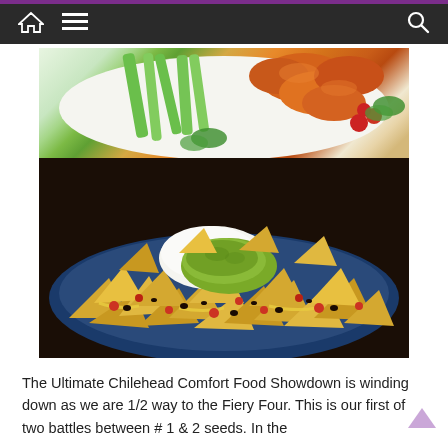Navigation bar with home, menu, and search icons
[Figure (photo): Two food photos stacked: top shows buffalo wings with celery sticks and cherry tomatoes on a white plate; bottom shows loaded nachos with guacamole, sour cream, black beans, tomatoes and melted cheese on a blue plate]
The Ultimate Chilehead Comfort Food Showdown is winding down as we are 1/2 way to the Fiery Four. This is our first of two battles between # 1 & 2 seeds. In the